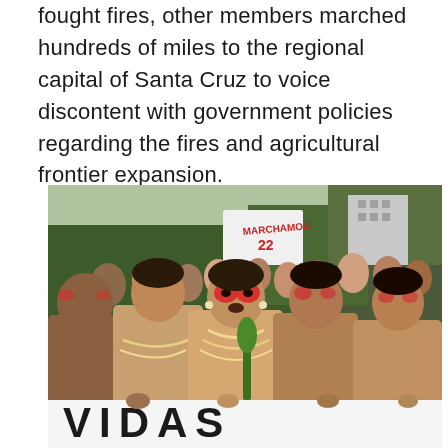fought fires, other members marched hundreds of miles to the regional capital of Santa Cruz to voice discontent with government policies regarding the fires and agricultural frontier expansion.
[Figure (photo): A large march of indigenous people, mostly women in traditional dress with face paint and headdresses, holding a white banner with black letters partially visible at the bottom reading 'VIDAS'. In the background, protesters carry signs including one that reads 'MARCHAMOS' with numbers. The march takes place on a road with green trees and buildings visible in the background.]